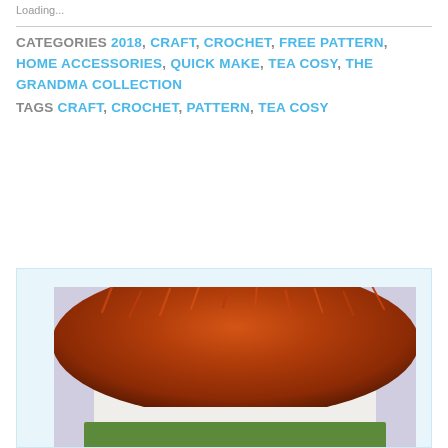Loading...
CATEGORIES 2018, CRAFT, CROCHET, FREE PATTERN, HOME ACCESSORIES, QUICK MAKE, TEA COSY, THE GRANDMA COLLECTION
TAGS CRAFT, CROCHET, PATTERN, TEA COSY
[Figure (photo): A crocheted tea cosy with a fluffy orange/auburn fur pompom top, white body, and green accents, photographed against a light purple/blue background.]